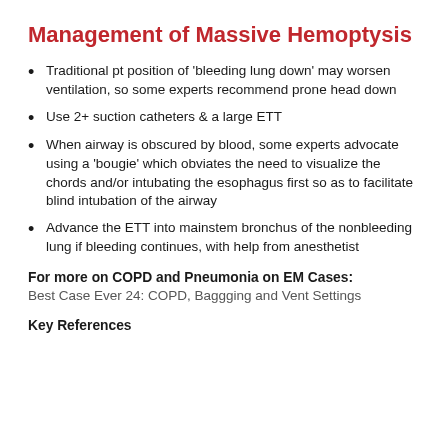Management of Massive Hemoptysis
Traditional pt position of ‘bleeding lung down’ may worsen ventilation, so some experts recommend prone head down
Use 2+ suction catheters & a large ETT
When airway is obscured by blood, some experts advocate using a ‘bougie’ which obviates the need to visualize the chords and/or intubating the esophagus first so as to facilitate blind intubation of the airway
Advance the ETT into mainstem bronchus of the nonbleeding lung if bleeding continues, with help from anesthetist
For more on COPD and Pneumonia on EM Cases:
Best Case Ever 24: COPD, Baggging and Vent Settings
Key References